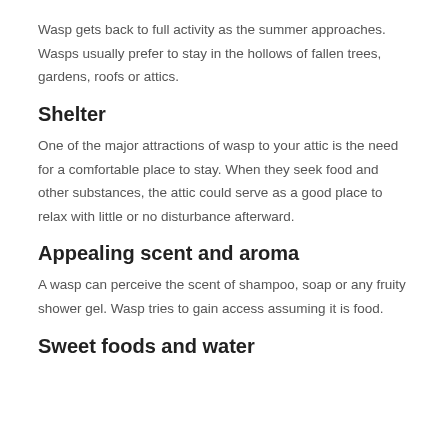Wasp gets back to full activity as the summer approaches. Wasps usually prefer to stay in the hollows of fallen trees, gardens, roofs or attics.
Shelter
One of the major attractions of wasp to your attic is the need for a comfortable place to stay. When they seek food and other substances, the attic could serve as a good place to relax with little or no disturbance afterward.
Appealing scent and aroma
A wasp can perceive the scent of shampoo, soap or any fruity shower gel. Wasp tries to gain access assuming it is food.
Sweet foods and water